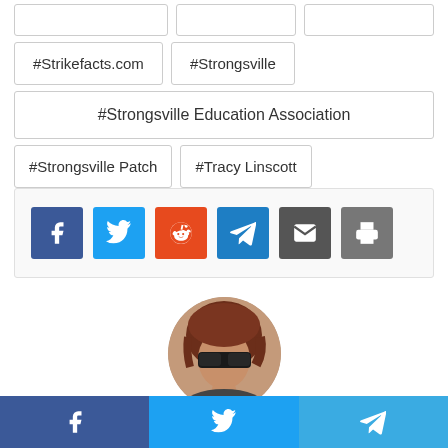#Strikefacts.com
#Strongsville
#Strongsville Education Association
#Strongsville Patch
#Tracy Linscott
[Figure (infographic): Social share buttons: Facebook (blue), Twitter (light blue), Reddit (orange-red), Telegram (blue), Email (dark gray), Print (gray)]
[Figure (photo): Circular profile photo of a woman with reddish-brown hair wearing sunglasses]
Liz Harrison (twitter: @GoldwaterGal)
[Figure (infographic): Bottom bar with three social share buttons: Facebook (dark blue), Twitter (light blue), Telegram (light blue)]